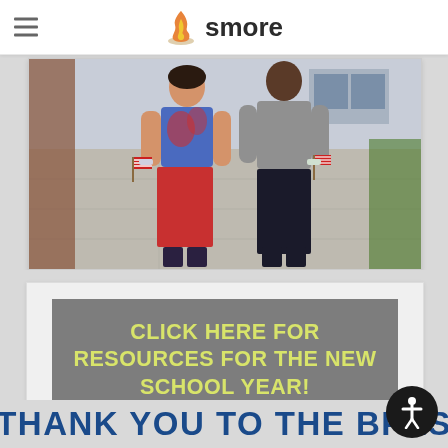smore
[Figure (photo): Two people standing outdoors in front of a building, one wearing a tie-dye blue/red shirt and red skirt holding a small American flag, the other in a gray sweater and dark pants also holding a small flag]
CLICK HERE FOR RESOURCES FOR THE NEW SCHOOL YEAR!
THANK YOU TO THE BPES